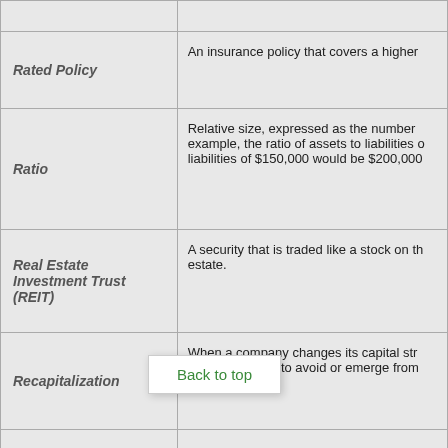| Term | Definition |
| --- | --- |
|  |  |
| Rated Policy | An insurance policy that covers a higher... |
| Ratio | Relative size, expressed as the number... example, the ratio of assets to liabilities... liabilities of $150,000 would be $200,000... |
| Real Estate Investment Trust (REIT) | A security that is traded like a stock on th... estate. |
| Recapitalization | When a company changes its capital str... reduce taxes or to avoid or emerge from... |
| Receivable | An amount to ... future dat... |
| Redemption | The repayment of a debt security or pref... premium before maturity. |
| Refinancing | Rescheduling of payments due. This us... |